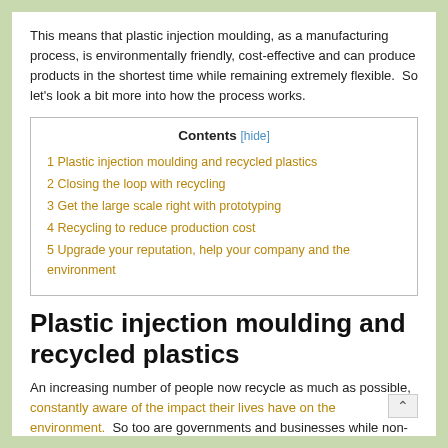This means that plastic injection moulding, as a manufacturing process, is environmentally friendly, cost-effective and can produce products in the shortest time while remaining extremely flexible.  So let's look a bit more into how the process works.
| Contents [hide] |
| --- |
| 1 Plastic injection moulding and recycled plastics |
| 2 Closing the loop with recycling |
| 3 Get the large scale right with prototyping |
| 4 Recycling to reduce production cost |
| 5 Upgrade your reputation, help your company and the environment |
Plastic injection moulding and recycled plastics
An increasing number of people now recycle as much as possible, constantly aware of the impact their lives have on the environment.  So too are governments and businesses while non-